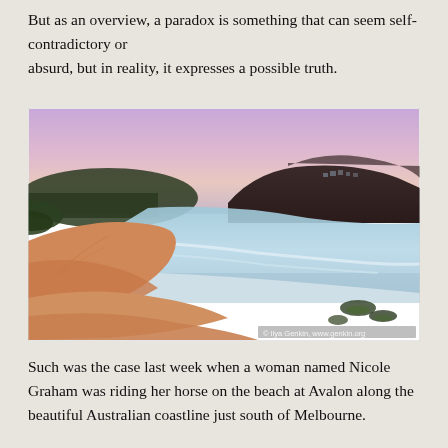But as an overview, a paradox is something that can seem self-contradictory or absurd, but in reality, it expresses a possible truth.
[Figure (photo): A scenic beach photograph at sunset/dusk showing a curved sandy beach with calm blue water, rocky headland in the background, and a purple-pink sky. Watermark reads '© Ilya Genkin, www.genkin.org']
Such was the case last week when a woman named Nicole Graham was riding her horse on the beach at Avalon along the beautiful Australian coastline just south of Melbourne.